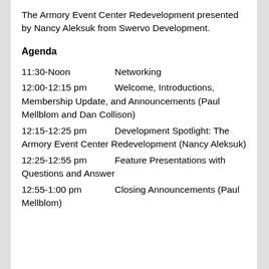The Armory Event Center Redevelopment presented by Nancy Aleksuk from Swervo Development.
Agenda
11:30-Noon			Networking
12:00-12:15 pm		Welcome, Introductions, Membership Update, and Announcements (Paul Mellblom and Dan Collison)
12:15-12:25 pm		Development Spotlight: The Armory Event Center Redevelopment (Nancy Aleksuk)
12:25-12:55 pm		Feature Presentations with Questions and Answer
12:55-1:00 pm		Closing Announcements (Paul Mellblom)